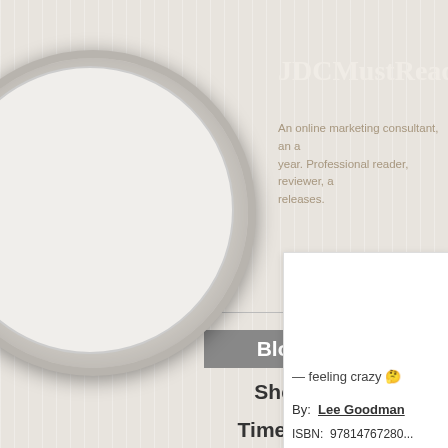JDCMustReadBo
An online marketing consultant, an a year. Professional reader, reviewer, a releases.
[Figure (photo): White circular profile avatar placeholder on dark leather-textured background]
Search
Blog
Shelf
Timeline
— feeling crazy 🤔
By:  Lee Goodman
ISBN:  9781476728...